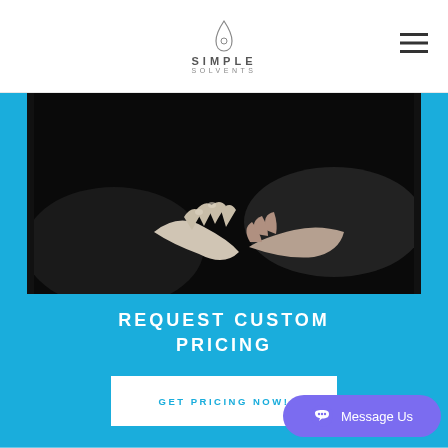SIMPLE SOLVENTS
[Figure (photo): Black and white photo of two hands almost touching/shaking hands against a dark background]
REQUEST CUSTOM PRICING
GET PRICING NOW!
Message Us